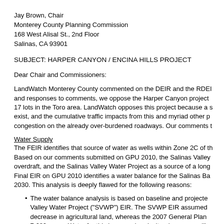Jay Brown, Chair
Monterey County Planning Commission
168 West Alisal St., 2nd Floor
Salinas, CA 93901
SUBJECT: HARPER CANYON / ENCINA HILLS PROJECT
Dear Chair and Commissioners:
LandWatch Monterey County commented on the DEIR and the RDEI and responses to comments, we oppose the Harper Canyon project 17 lots in the Toro area. LandWatch opposes this project because a s exist, and the cumulative traffic impacts from this and myriad other p congestion on the already over-burdened roadways. Our comments t
Water Supply
The FEIR identifies that source of water as wells within Zone 2C of th Based on our comments submitted on GPU 2010, the Salinas Valley overdraft, and the Salinas Valley Water Project as a source of a long Final EIR on GPU 2010 identifies a water balance for the Salinas Ba 2030. This analysis is deeply flawed for the following reasons:
The water balance analysis is based on baseline and projecte Valley Water Project (“SVWP”) EIR. The SVWP EIR assumed decrease in agricultural land, whereas the 2007 General Plan 7,682 acres. Water for this increased agricultural acreage will e the Final EIR and place the basin into substantial overdraft.